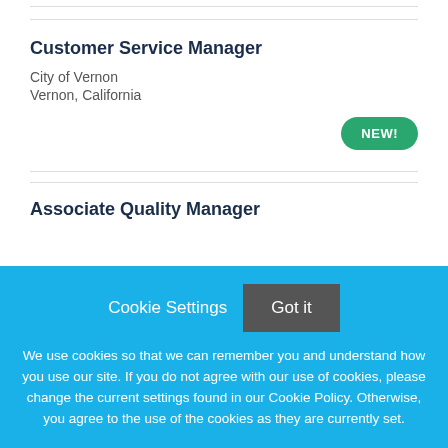Customer Service Manager
City of Vernon
Vernon, California
[Figure (other): NEW! badge (green pill button)]
Associate Quality Manager
Cookie Settings  Got it
We use cookies so that we can remember you and understand how you use our site. If you do not agree with our use of cookies, please change the current settings found in our Cookie Policy. Otherwise, you agree to the use of the cookies as they are currently set.